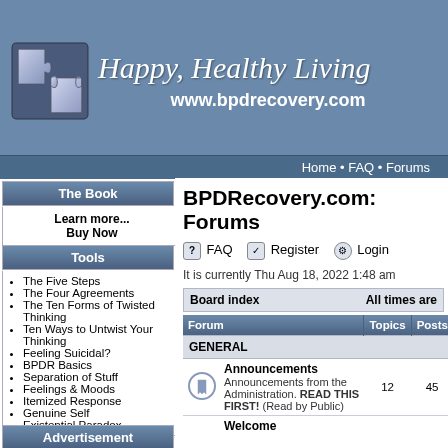Happy, Healthy Living
www.bpdrecovery.com
Home · FAQ · Forums
The Book
Learn more...
Buy Now
Tools
The Five Steps
The Four Agreements
The Ten Forms of Twisted Thinking
Ten Ways to Untwist Your Thinking
Feeling Suicidal?
BPDR Basics
Separation of Stuff
Feelings & Moods
Itemized Response
Genuine Self
Existential Paradox
Advertisement
BPDRecovery.com: Forums
FAQ  Register  Login
It is currently Thu Aug 18, 2022 1:48 am
| Forum | Topics | Posts |
| --- | --- | --- |
| GENERAL |  |  |
| Announcements — Announcements from the Administration. READ THIS FIRST! (Read by Public) | 12 | 45 |
| Welcome |  |  |